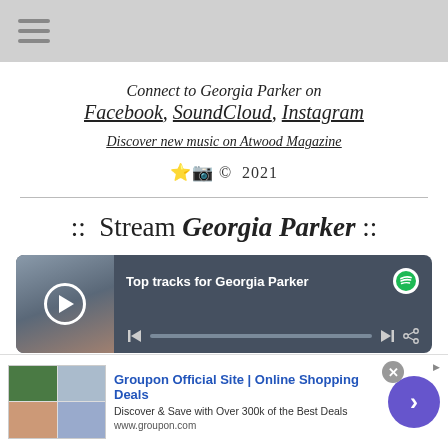≡ (hamburger menu)
Connect to Georgia Parker on Facebook, SoundCloud, Instagram
Discover new music on Atwood Magazine
📷 © 2021
:: Stream Georgia Parker ::
[Figure (screenshot): Spotify embedded player widget showing 'Top tracks for Georgia Parker' with play button, progress bar, and Spotify logo on dark teal background]
[Figure (screenshot): Groupon advertisement banner: 'Groupon Official Site | Online Shopping Deals — Discover & Save with Over 300k of the Best Deals — www.groupon.com' with close button and arrow button]